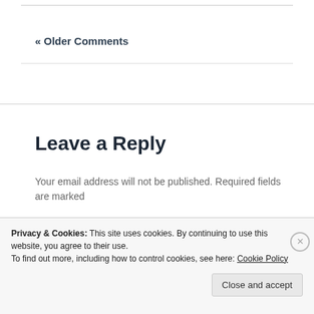« Older Comments
Leave a Reply
Your email address will not be published. Required fields are marked
Privacy & Cookies: This site uses cookies. By continuing to use this website, you agree to their use.
To find out more, including how to control cookies, see here: Cookie Policy
Close and accept